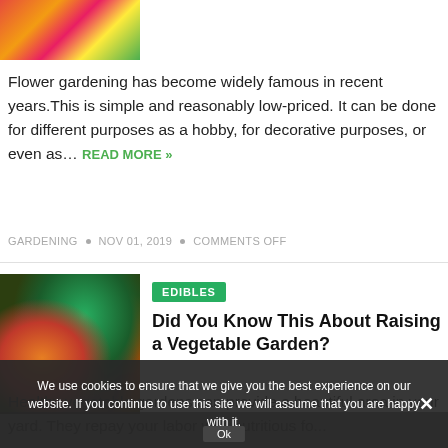[Figure (photo): Colorful flower garden photo — pink, yellow, red flowers]
Flower gardening has become widely famous in recent years.This is simple and reasonably low-priced. It can be done for different purposes as a hobby, for decorative purposes, or even as… READ MORE »
GARDENING • NOV 01, 2019 • COMMENTS OFF
[Figure (photo): Vegetable garden photo — root vegetables, carrots, and greens on dark soil]
EDIBLES
Did You Know This About Raising a Vegetable Garden?
Healthy vegetable gardens can provide a beautiful area in your yard. They repay your labor with nutritious fo...
We use cookies to ensure that we give you the best experience on our website. If you continue to use this site we will assume that you are happy with it.